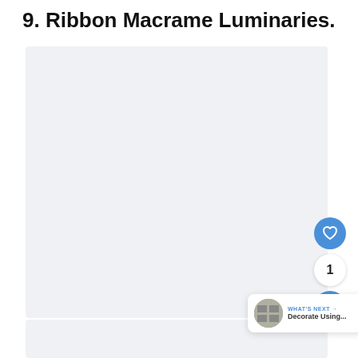9. Ribbon Macrame Luminaries.
[Figure (photo): Large light gray placeholder image area for Ribbon Macrame Luminaries photo]
[Figure (infographic): UI overlay showing heart/like button (blue circle with heart icon), count badge showing '1', share button (blue circle with share icon), and a 'WHAT'S NEXT' panel showing a thumbnail and text 'Decorate Using...']